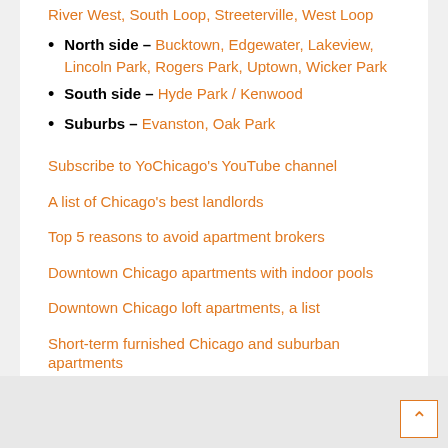River West, South Loop, Streeterville, West Loop
North side – Bucktown, Edgewater, Lakeview, Lincoln Park, Rogers Park, Uptown, Wicker Park
South side – Hyde Park / Kenwood
Suburbs – Evanston, Oak Park
Subscribe to YoChicago's YouTube channel
A list of Chicago's best landlords
Top 5 reasons to avoid apartment brokers
Downtown Chicago apartments with indoor pools
Downtown Chicago loft apartments, a list
Short-term furnished Chicago and suburban apartments